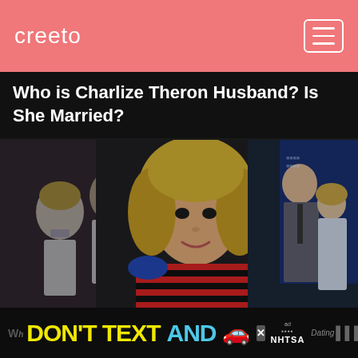creeto
Who is Charlize Theron Husband? Is She Married?
[Figure (photo): Photo collage showing blonde women with male partners at formal events. Center: woman in striped red and black top with blonde bob haircut. Left: couple in formal wear, man in white tuxedo, woman in white dress. Right: couple at a premiere, tall man in gray suit, woman in light blue dress.]
[Figure (screenshot): Ad banner: DON'T TEXT AND [car emoji] with NHTSA logo and close button. Partial text Wh...Dating visible on edges.]